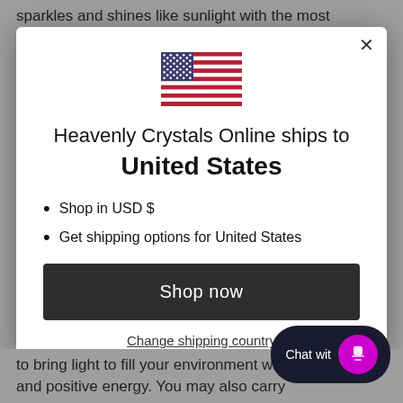sparkles and shines like sunlight with the most
[Figure (illustration): US flag icon centered in modal]
Heavenly Crystals Online ships to United States
Shop in USD $
Get shipping options for United States
Shop now
Change shipping country
Chat wit
to bring light to fill your environment with good vibes and positive energy. You may also carry